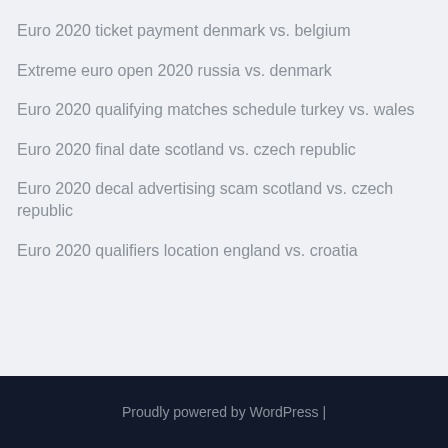Euro 2020 ticket payment denmark vs. belgium
Extreme euro open 2020 russia vs. denmark
Euro 2020 qualifying matches schedule turkey vs. wales
Euro 2020 final date scotland vs. czech republic
Euro 2020 decal advertising scam scotland vs. czech republic
Euro 2020 qualifiers location england vs. croatia
Proudly powered by WordPress |